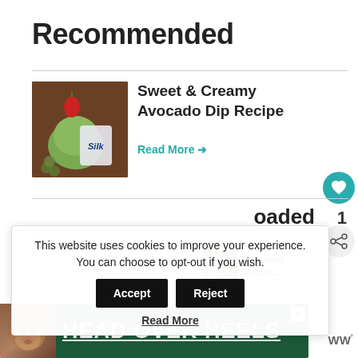Recommended
[Figure (photo): Photo of Sweet & Creamy Avocado Dip Recipe — a green avocado dip in a container with a strawberry on top, Silk brand container visible, grapes and crackers around it]
Sweet & Creamy Avocado Dip Recipe
Read More →
1
oaded
WHAT'S NEXT → 50 Sweet Potato...
This website uses cookies to improve your experience. You can choose to opt-out if you wish.
Accept
Reject
Read More
[Figure (photo): Advertisement banner: HEAD OVER HEELS with a dog photo, dark green background, close button visible]
WW°